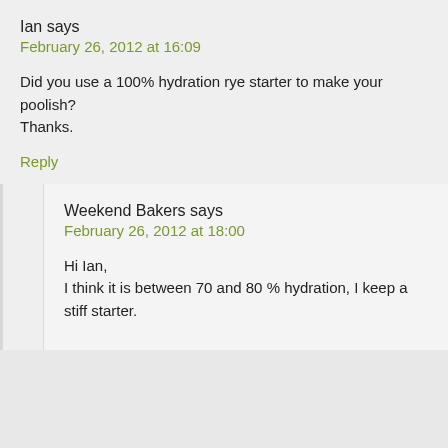Ian says
February 26, 2012 at 16:09
Did you use a 100% hydration rye starter to make your poolish?
Thanks.
Reply
Weekend Bakers says
February 26, 2012 at 18:00
Hi Ian,
I think it is between 70 and 80 % hydration, I keep a stiff starter.